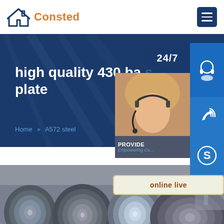[Figure (logo): Consted brand logo with house icon in navy blue and orange text]
high quality 430 ba s plate
Home » A572 steel
[Figure (infographic): Customer service sidebar widget showing 24/7 support, phone, skype icons and customer photo with online live button]
[Figure (photo): Steel coil rolls stacked in a warehouse/industrial facility]